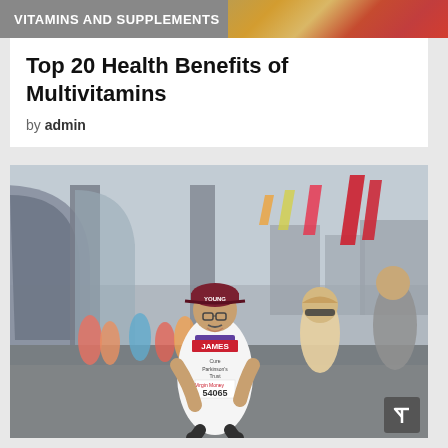VITAMINS AND SUPPLEMENTS
Top 20 Health Benefits of Multivitamins
by admin
[Figure (photo): Marathon runner wearing bib number 54065, name tag JAMES, and a Cure Parkinson's Trust vest with Virgin Money branding, running through a city street with arch in background and other runners and spectators around]